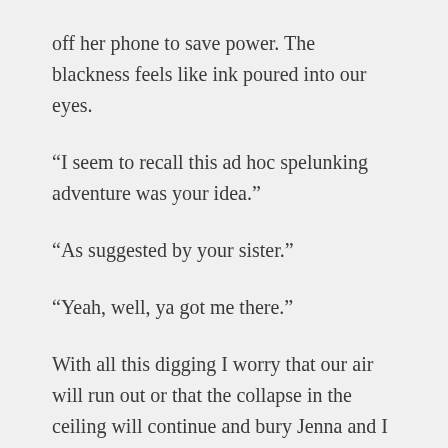off her phone to save power. The blackness feels like ink poured into our eyes.
“I seem to recall this ad hoc spelunking adventure was your idea.”
“As suggested by your sister.”
“Yeah, well, ya got me there.”
With all this digging I worry that our air will run out or that the collapse in the ceiling will continue and bury Jenna and I